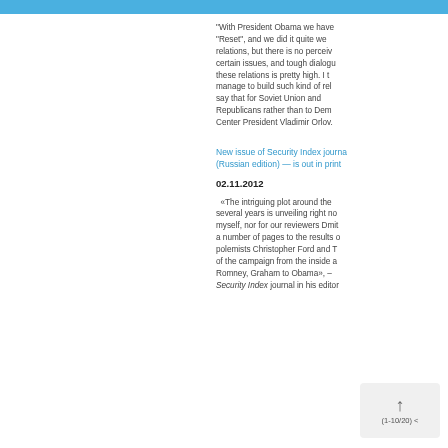“With President Obama we have “Reset”, and we did it quite well relations, but there is no perceiv certain issues, and tough dialogu these relations is pretty high. I t manage to build such kind of rel say that for Soviet Union and Republicans rather than to Dem Center President Vladimir Orlov.
New issue of Security Index journal (Russian edition) — is out in print
02.11.2012
«The intriguing plot around the several years is unveiling right no myself, nor for our reviewers Dmit a number of pages to the results o polemists Christopher Ford and T of the campaign from the inside a Romney, Graham to Obama», – Security Index journal in his editor